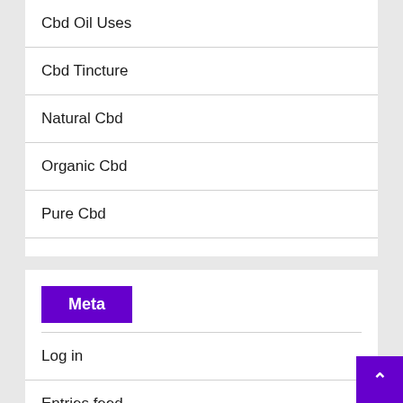Cbd Oil Uses
Cbd Tincture
Natural Cbd
Organic Cbd
Pure Cbd
Meta
Log in
Entries feed